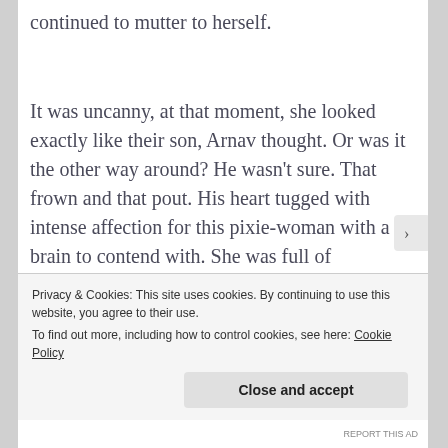continued to mutter to herself.
It was uncanny, at that moment, she looked exactly like their son, Arnav thought. Or was it the other way around? He wasn't sure. That frown and that pout. His heart tugged with intense affection for this pixie-woman with a brain to contend with. She was full of contradictions, and she was his good friend. But at this moment, she was fixated
Privacy & Cookies: This site uses cookies. By continuing to use this website, you agree to their use.
To find out more, including how to control cookies, see here: Cookie Policy
Close and accept
REPORT THIS AD